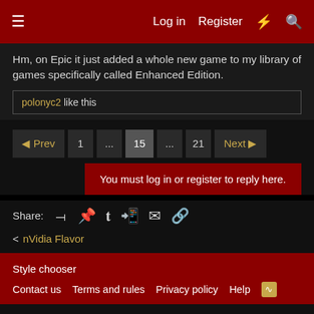Log in  Register
Hm, on Epic it just added a whole new game to my library of games specifically called Enhanced Edition.
polonyc2 like this
◄ Prev  1  ...  15  ...  21  Next ►
You must log in or register to reply here.
Share:
< nVidia Flavor
Style chooser
Contact us  Terms and rules  Privacy policy  Help
Design by: Pixel Exit